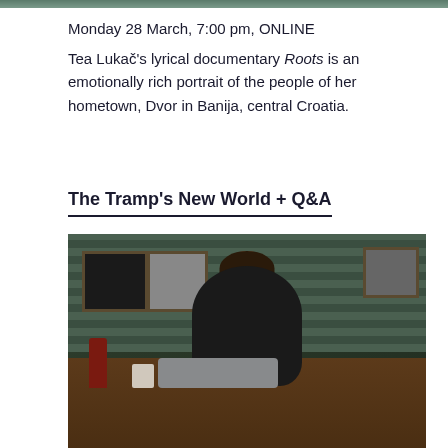[Figure (photo): Top strip of a photo showing green-toned background]
Monday 28 March, 7:00 pm, ONLINE
Tea Lukač's lyrical documentary Roots is an emotionally rich portrait of the people of her hometown, Dvor in Banija, central Croatia.
The Tramp's New World + Q&A
[Figure (photo): A man in a dark plaid shirt sits at a desk looking down at a typewriter. Behind him on a green striped wall hang framed photographs. Various items including a bottle and mug are on the desk.]